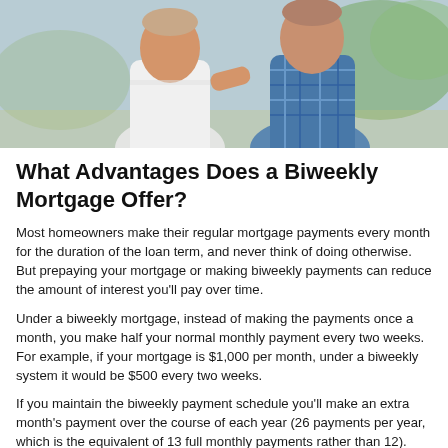[Figure (photo): Two older men standing together outdoors, one in a white shirt and one in a blue plaid shirt]
What Advantages Does a Biweekly Mortgage Offer?
Most homeowners make their regular mortgage payments every month for the duration of the loan term, and never think of doing otherwise. But prepaying your mortgage or making biweekly payments can reduce the amount of interest you'll pay over time.
Under a biweekly mortgage, instead of making the payments once a month, you make half your normal monthly payment every two weeks. For example, if your mortgage is $1,000 per month, under a biweekly system it would be $500 every two weeks.
If you maintain the biweekly payment schedule you'll make an extra month's payment over the course of each year (26 payments per year, which is the equivalent of 13 full monthly payments rather than 12). You'll also pay less interest because your payments are applied to your principal balance more frequently.
The effect of biweekly mortgage payments can be dramatic. For example, if you currently have a $150,000 loan at 8 % fixed interest,